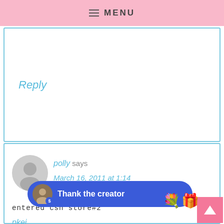MENU
Reply
polly says
March 16, 2011 at 1:14 AM
entered csn store#2
pkei...